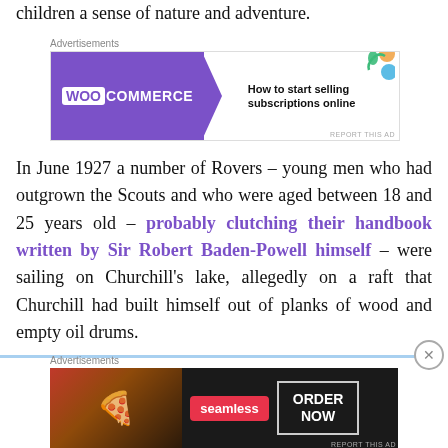children a sense of nature and adventure.
[Figure (other): WooCommerce advertisement banner: purple background with WooCommerce logo on left, arrow shape pointing right, text 'How to start selling subscriptions online' on white background with colorful shapes on right.]
In June 1927 a number of Rovers – young men who had outgrown the Scouts and who were aged between 18 and 25 years old – probably clutching their handbook written by Sir Robert Baden-Powell himself – were sailing on Churchill's lake, allegedly on a raft that Churchill had built himself out of planks of wood and empty oil drums.
[Figure (other): Seamless food delivery advertisement: dark background with pizza image on left, Seamless logo in red, and 'ORDER NOW' button on right.]